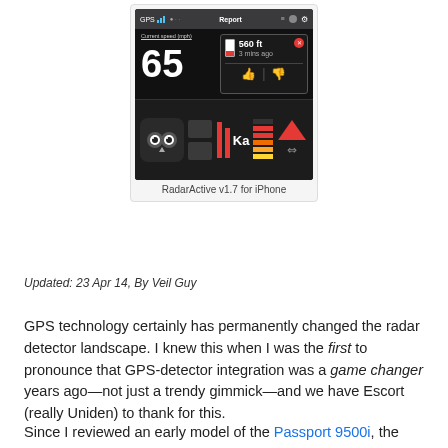[Figure (screenshot): Screenshot of RadarActive v1.7 for iPhone app showing GPS speed of 65 mph, an alert for 560 ft 3 mins ago, Ka radar band indicator with signal strength bars and direction arrow, and an owl icon.]
RadarActive v1.7 for iPhone
Updated: 23 Apr 14, By Veil Guy
GPS technology certainly has permanently changed the radar detector landscape. I knew this when I was the first to pronounce that GPS-detector integration was a game changer years ago—not just a trendy gimmick—and we have Escort (really Uniden) to thank for this.
Since I reviewed an early model of the Passport 9500i, the